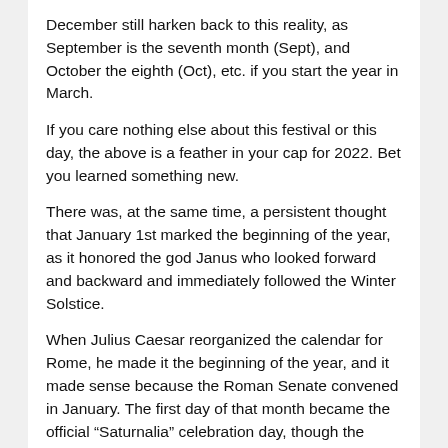December still harken back to this reality, as September is the seventh month (Sept), and October the eighth (Oct), etc. if you start the year in March.
If you care nothing else about this festival or this day, the above is a feather in your cap for 2022. Bet you learned something new.
There was, at the same time, a persistent thought that January 1st marked the beginning of the year, as it honored the god Janus who looked forward and backward and immediately followed the Winter Solstice.
When Julius Caesar reorganized the calendar for Rome, he made it the beginning of the year, and it made sense because the Roman Senate convened in January. The first day of that month became the official "Saturnalia" celebration day, though the weeks prior and weeks after were included in the festivities.
This date as the start of the new year began to spread throughout the centuries, and eventually landed in